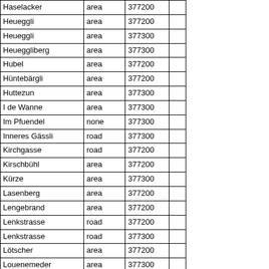| Haselacker | area | 377200 |  |
| Heueggli | area | 377200 |  |
| Heueggli | area | 377300 |  |
| Heueggliberg | area | 377300 |  |
| Hubel | area | 377200 |  |
| Hüntebärgli | area | 377200 |  |
| Huttezun | area | 377300 |  |
| I de Wanne | area | 377300 |  |
| Im Pfuendel | none | 377300 |  |
| Inneres Gässli | road | 377300 |  |
| Kirchgasse | road | 377200 |  |
| Kirschbühl | area | 377200 |  |
| Kürze | area | 377300 |  |
| Lasenberg | area | 377200 |  |
| Lengebrand | area | 377200 |  |
| Lenkstrasse | road | 377200 |  |
| Lenkstrasse | road | 377300 |  |
| Lötscher | area | 377200 |  |
| Louenemeder | area | 377300 |  |
| Loueneweid | area | 377300 |  |
| Louizug | area | 377200 |  |
| Luess | none | 377200 |  |
| Lüssweg | road | 377200 |  |
| Mattebärgli | area | 377200 |  |
| Mattengässli | road | 377300 |  |
| Moos | area | 377200 |  |
| Muheimiweg | road | 377300 |  |